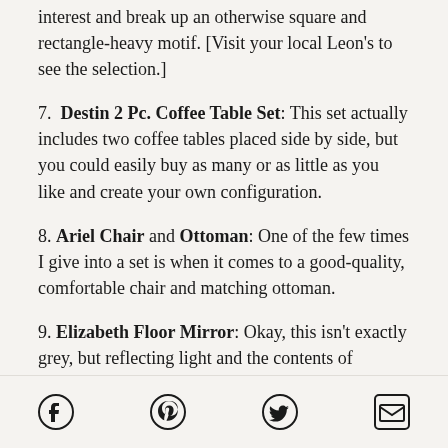interest and break up an otherwise square and rectangle-heavy motif. [Visit your local Leon's to see the selection.]
7. Destin 2 Pc. Coffee Table Set: This set actually includes two coffee tables placed side by side, but you could easily buy as many or as little as you like and create your own configuration.
8. Ariel Chair and Ottoman: One of the few times I give into a set is when it comes to a good-quality, comfortable chair and matching ottoman.
9. Elizabeth Floor Mirror: Okay, this isn't exactly grey, but reflecting light and the contents of
Social share icons: Facebook, Pinterest, Twitter, Email